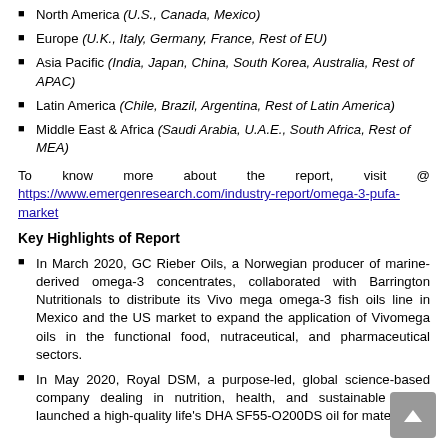North America (U.S., Canada, Mexico)
Europe (U.K., Italy, Germany, France, Rest of EU)
Asia Pacific (India, Japan, China, South Korea, Australia, Rest of APAC)
Latin America (Chile, Brazil, Argentina, Rest of Latin America)
Middle East & Africa (Saudi Arabia, U.A.E., South Africa, Rest of MEA)
To know more about the report, visit @ https://www.emergenresearch.com/industry-report/omega-3-pufa-market
Key Highlights of Report
In March 2020, GC Rieber Oils, a Norwegian producer of marine-derived omega-3 concentrates, collaborated with Barrington Nutritionals to distribute its Vivo mega omega-3 fish oils line in Mexico and the US market to expand the application of Vivomega oils in the functional food, nutraceutical, and pharmaceutical sectors.
In May 2020, Royal DSM, a purpose-led, global science-based company dealing in nutrition, health, and sustainable living, launched a high-quality life's DHA SF55-O200DS oil for maternal